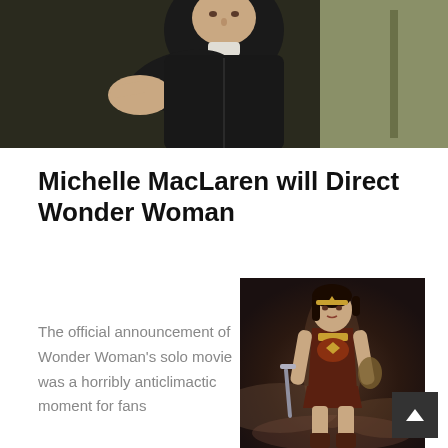[Figure (photo): A person in a dark jacket pointing their finger toward the camera in a dimly lit room]
Michelle MacLaren will Direct Wonder Woman
The official announcement of Wonder Woman's solo movie was a horribly anticlimactic moment for fans
[Figure (photo): Wonder Woman character in full costume holding a sword and shield against a dramatic smoky background]